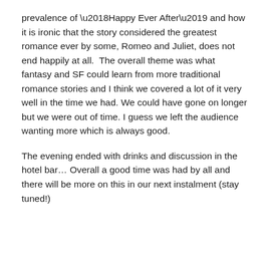prevalence of ‘Happy Ever After’ and how it is ironic that the story considered the greatest romance ever by some, Romeo and Juliet, does not end happily at all.  The overall theme was what fantasy and SF could learn from more traditional romance stories and I think we covered a lot of it very well in the time we had. We could have gone on longer but we were out of time. I guess we left the audience wanting more which is always good.
The evening ended with drinks and discussion in the hotel bar… Overall a good time was had by all and there will be more on this in our next instalment (stay tuned!)